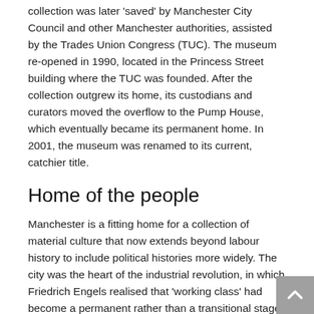collection was later 'saved' by Manchester City Council and other Manchester authorities, assisted by the Trades Union Congress (TUC). The museum re-opened in 1990, located in the Princess Street building where the TUC was founded. After the collection outgrew its home, its custodians and curators moved the overflow to the Pump House, which eventually became its permanent home. In 2001, the museum was renamed to its current, catchier title.
Home of the people
Manchester is a fitting home for a collection of material culture that now extends beyond labour history to include political histories more widely. The city was the heart of the industrial revolution, in which Friedrich Engels realised that 'working class' had become a permanent rather than a transitional stage for workers. Based on this observation, Engels envisaged Manchester as a future site for communist revolution.